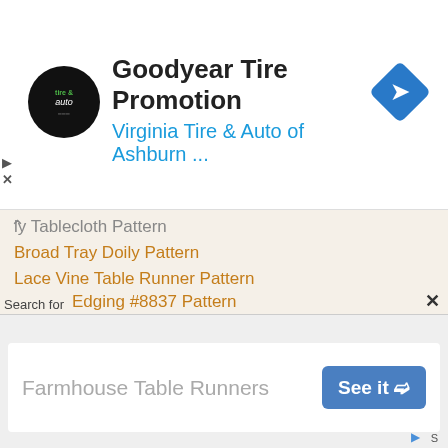[Figure (screenshot): Advertisement banner for Goodyear Tire Promotion - Virginia Tire & Auto of Ashburn with logo and navigation icon]
ly Tablecloth Pattern
Broad Tray Doily Pattern
Lace Vine Table Runner Pattern
Pent House Chair Set Pattern
God Bless America Doily Pattern
North Shore Luncheon Set Pattern
Queen Victoria Tablecloth Pattern
Aristocrat Tablecloth Pattern
Briar Rose Tablecloth Pattern
Lazybones Pillow Pattern
Edging #8841 Pattern
Edging #8838 Pattern
Edging #8839 Pattern
Edging #8837 Pattern
[Figure (screenshot): Bottom search advertisement showing Farmhouse Table Runners with See it button]